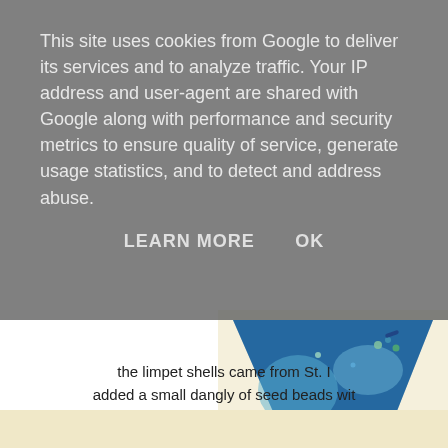This site uses cookies from Google to deliver its services and to analyze traffic. Your IP address and user-agent are shared with Google along with performance and security metrics to ensure quality of service, generate usage statistics, and to detect and address abuse.
LEARN MORE    OK
[Figure (photo): Partial view of an art piece showing a blue fabric or mixed-media triangular shape decorated with shells, beads, and embellishments on a light background, framed or mounted on a board.]
the limpet shells came from St. I added a small dangly of seed beads wit